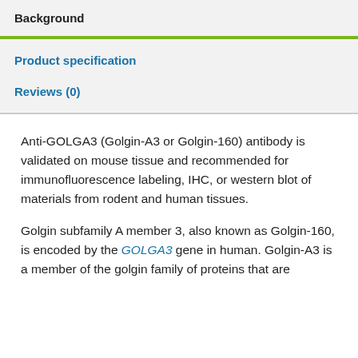Background
Product specification
Reviews (0)
Anti-GOLGA3 (Golgin-A3 or Golgin-160) antibody is validated on mouse tissue and recommended for immunofluorescence labeling, IHC, or western blot of materials from rodent and human tissues.
Golgin subfamily A member 3, also known as Golgin-160, is encoded by the GOLGA3 gene in human. Golgin-A3 is a member of the golgin family of proteins that are